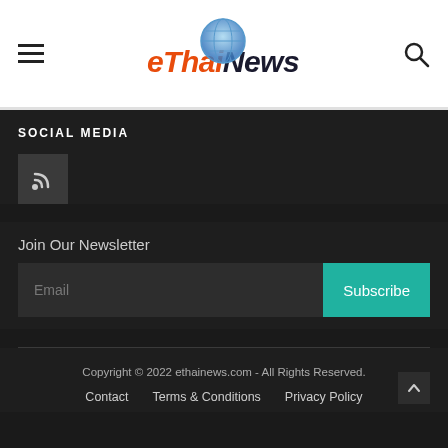eThaiNews
SOCIAL MEDIA
[Figure (logo): RSS feed icon in a dark square button]
Join Our Newsletter
Email / Subscribe
Copyright © 2022 ethainews.com - All Rights Reserved. | Contact | Terms & Conditions | Privacy Policy